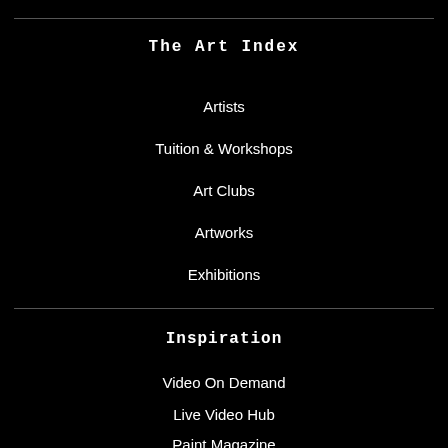The Art Index
Artists
Tuition & Workshops
Art Clubs
Artworks
Exhibitions
Inspiration
Video On Demand
Live Video Hub
Paint Magazine
News & Articles